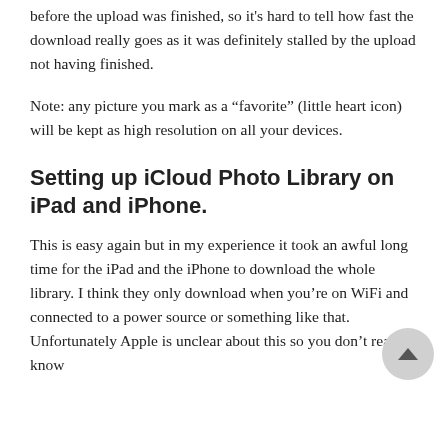before the upload was finished, so it's hard to tell how fast the download really goes as it was definitely stalled by the upload not having finished.
Note: any picture you mark as a “favorite” (little heart icon) will be kept as high resolution on all your devices.
Setting up iCloud Photo Library on iPad and iPhone.
This is easy again but in my experience it took an awful long time for the iPad and the iPhone to download the whole library. I think they only download when you’re on WiFi and connected to a power source or something like that. Unfortunately Apple is unclear about this so you don’t really know